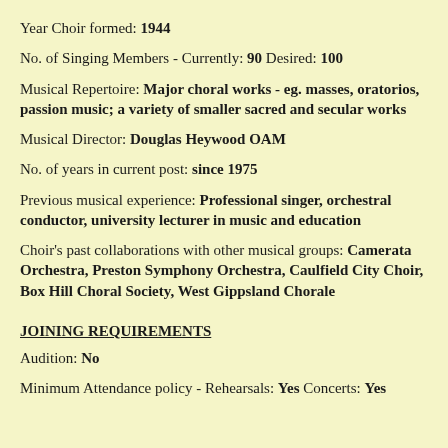Year Choir formed: 1944
No. of Singing Members - Currently: 90 Desired: 100
Musical Repertoire: Major choral works - eg. masses, oratorios, passion music; a variety of smaller sacred and secular works
Musical Director: Douglas Heywood OAM
No. of years in current post: since 1975
Previous musical experience: Professional singer, orchestral conductor, university lecturer in music and education
Choir's past collaborations with other musical groups: Camerata Orchestra, Preston Symphony Orchestra, Caulfield City Choir, Box Hill Choral Society, West Gippsland Chorale
JOINING REQUIREMENTS
Audition: No
Minimum Attendance policy - Rehearsals: Yes Concerts: Yes